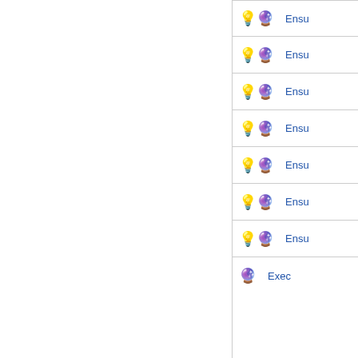💡💜 Ensu…
💡💜 Ensu…
💡💜 Ensu…
💡💜 Ensu…
💡💜 Ensu…
💡💜 Ensu…
💡💜 Ensu…
💜 Exec…